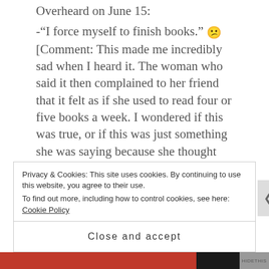Overheard on June 15:
-“I force myself to finish books.” 😕 [Comment: This made me incredibly sad when I heard it. The woman who said it then complained to her friend that it felt as if she used to read four or five books a week. I wondered if this was true, or if this was just something she was saying because she thought that reading books was something that she should be able to do more easily. Other people who I helped later in the evening were unabashed about their inability to concentrate on fiction books, and while I felt very sad for them, because books are my
Privacy & Cookies: This site uses cookies. By continuing to use this website, you agree to their use.
To find out more, including how to control cookies, see here: Cookie Policy
Close and accept